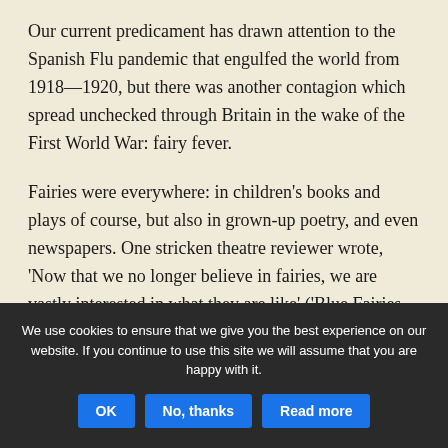Our current predicament has drawn attention to the Spanish Flu pandemic that engulfed the world from 1918—1920, but there was another contagion which spread unchecked through Britain in the wake of the First World War: fairy fever.
Fairies were everywhere: in children’s books and plays of course, but also in grown-up poetry, and even newspapers. One stricken theatre reviewer wrote, ‘Now that we no longer believe in fairies, we are vastly interested in what they are like’ (‘Blue Fairies, A Midsummer Nights Dream,’ The Era, 14 November 1923)
We use cookies to ensure that we give you the best experience on our website. If you continue to use this site we will assume that you are happy with it.